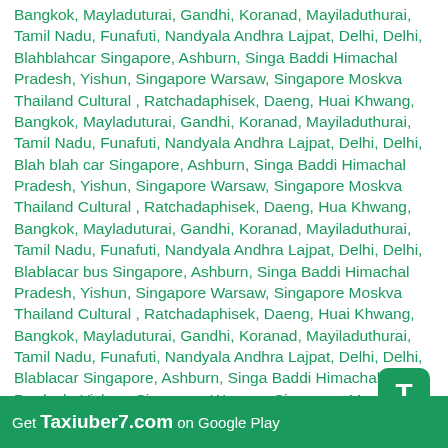Bangkok, Mayladuturai, Gandhi, Koranad, Mayiladuthurai, Tamil Nadu, Funafuti, Nandyala Andhra Lajpat, Delhi, Delhi, Blahblahcar Singapore, Ashburn, Singa Baddi Himachal Pradesh, Yishun, Singapore Warsaw, Singapore Moskva Thailand Cultural , Ratchadaphisek, Daeng, Huai Khwang, Bangkok, Mayladuturai, Gandhi, Koranad, Mayiladuthurai, Tamil Nadu, Funafuti, Nandyala Andhra Lajpat, Delhi, Delhi, Blah blah car Singapore, Ashburn, Singa Baddi Himachal Pradesh, Yishun, Singapore Warsaw, Singapore Moskva Thailand Cultural , Ratchadaphisek, Daeng, Hua Khwang, Bangkok, Mayladuturai, Gandhi, Koranad, Mayiladuthurai, Tamil Nadu, Funafuti, Nandyala Andhra Lajpat, Delhi, Delhi, Blablacar bus Singapore, Ashburn, Singa Baddi Himachal Pradesh, Yishun, Singapore Warsaw, Singapore Moskva Thailand Cultural , Ratchadaphisek, Daeng, Huai Khwang, Bangkok, Mayladuturai, Gandhi, Koranad, Mayiladuthurai, Tamil Nadu, Funafuti, Nandyala Andhra Lajpat, Delhi, Delhi, Blablacar Singapore, Ashburn, Singa Baddi Himachal Pradesh, Yishun, Singapore Warsaw, Singapore Moskva Thailand Cultural , Ratchadaphisek, Daeng, Huai Khwang, Bangkok, Mayladuturai, Gandhi, Koranad, Mayiladuthurai, Tamil Nadu, Funafuti, Nandyala Andhra Lajpat, Delhi, Delhi or bla bla car Singapore, Ashburn, Singa Baddi Himachal Pradesh, Yishun, Singapore Warsaw, Singapore Moskva Thailand Cultural , Ratchadaphisek, Daeng, Hua Khwang, Bangkok, Mayladuturai, Gandhi, Koranad, Mayiladuthurai, Tamil Nadu, Funafuti, Nandyala Andhra Lajpat,
[Figure (other): Green rounded square icon with white letter T, representing Taxiuber7 app icon]
Get Taxiuber7.com on Google Play